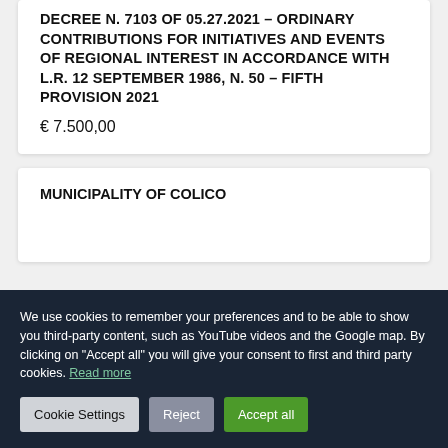Decree N. 7103 of 05.27.2021 – ORDINARY CONTRIBUTIONS FOR INITIATIVES AND EVENTS OF REGIONAL INTEREST IN ACCORDANCE WITH L.R. 12 SEPTEMBER 1986, N. 50 – FIFTH PROVISION 2021
€ 7.500,00
MUNICIPALITY OF COLICO
We use cookies to remember your preferences and to be able to show you third-party content, such as YouTube videos and the Google map. By clicking on "Accept all" you will give your consent to first and third party cookies. Read more